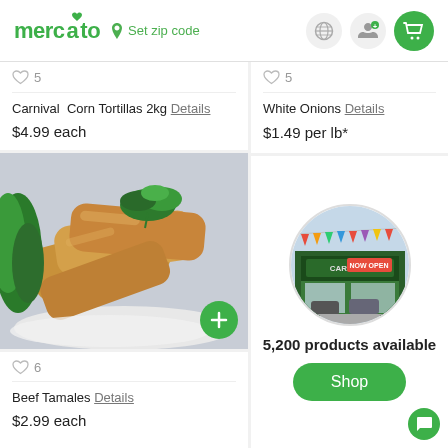mercato | Set zip code
♡ 5
Carnival Corn Tortillas 2kg Details
$4.99 each
[Figure (photo): Photo of beef tamales piled on a white plate with herbs, with a green plus button overlay]
♡ 6
Beef Tamales Details
$2.99 each
♡ 5
White Onions Details
$1.49 per lb*
[Figure (photo): Circular photo of a grocery store exterior with colorful flags, sign reading 'NOW OPEN']
5,200 products available
Shop